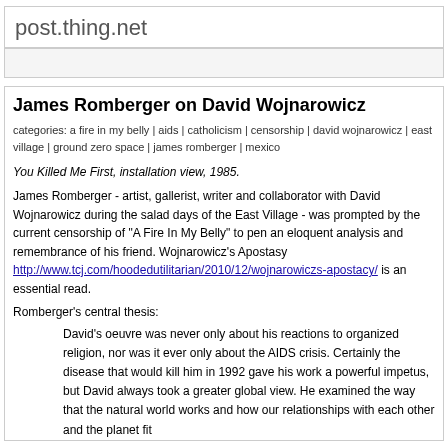post.thing.net
James Romberger on David Wojnarowicz
categories: a fire in my belly | aids | catholicism | censorship | david wojnarowicz | east village | ground zero space | james romberger | mexico
You Killed Me First, installation view, 1985.
James Romberger - artist, gallerist, writer and collaborator with David Wojnarowicz during the salad days of the East Village - was prompted by the current censorship of "A Fire In My Belly" to pen an eloquent analysis and remembrance of his friend. Wojnarowicz’s Apostasy http://www.tcj.com/hoodedutilitarian/2010/12/wojnarowiczs-apostacy/ is an essential read.
Romberger’s central thesis:
David's oeuvre was never only about his reactions to organized religion, nor was it ever only about the AIDS crisis. Certainly the disease that would kill him in 1992 gave his work a powerful impetus, but David always took a greater global view. He examined the way that the natural world works and how our relationships with each other and the planet fit